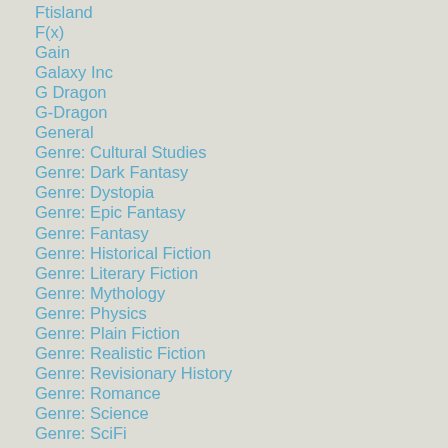Ftisland
F(x)
Gain
Galaxy Inc
G Dragon
G-Dragon
General
Genre: Cultural Studies
Genre: Dark Fantasy
Genre: Dystopia
Genre: Epic Fantasy
Genre: Fantasy
Genre: Historical Fiction
Genre: Literary Fiction
Genre: Mythology
Genre: Physics
Genre: Plain Fiction
Genre: Realistic Fiction
Genre: Revisionary History
Genre: Romance
Genre: Science
Genre: SciFi